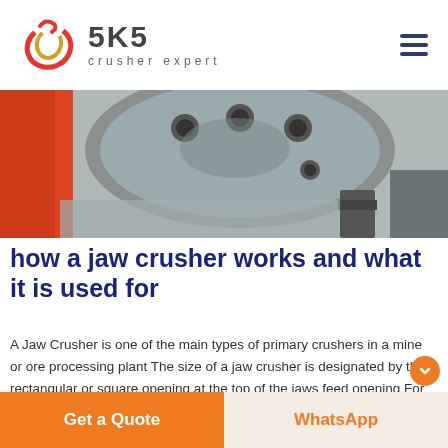SKS crusher expert
[Figure (photo): Close-up photo of a jaw crusher component showing a metal disc with bolt holes, a red/orange casing, and industrial machinery parts.]
how a jaw crusher works and what it is used for
A Jaw Crusher is one of the main types of primary crushers in a mine or ore processing plant The size of a jaw crusher is designated by the rectangular or square opening at the top of the jaws feed opening For instance a 24 x 36 jaw crusher has a
Get a Quote | WhatsApp